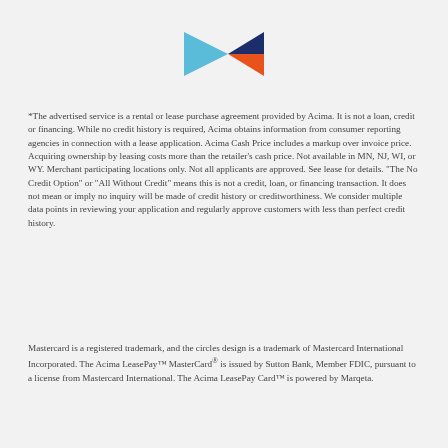[Figure (logo): Acima logo: a geometric arrow/chevron shape composed of a light blue triangle on the left, a dark navy triangle on the top right, and an orange triangle on the bottom right, forming a stylized forward-pointing arrow.]
*The advertised service is a rental or lease purchase agreement provided by Acima. It is not a loan, credit or financing. While no credit history is required, Acima obtains information from consumer reporting agencies in connection with a lease application. Acima Cash Price includes a markup over invoice price. Acquiring ownership by leasing costs more than the retailer’s cash price. Not available in MN, NJ, WI, or WY. Merchant participating locations only. Not all applicants are approved. See lease for details. “The No Credit Option” or “All Without Credit” means this is not a credit, loan, or financing transaction. It does not mean or imply no inquiry will be made of credit history or creditworthiness. We consider multiple data points in reviewing your application and regularly approve customers with less than perfect credit history.
Mastercard is a registered trademark, and the circles design is a trademark of Mastercard International Incorporated. The Acima LeasePay™ MasterCard® is issued by Sutton Bank, Member FDIC, pursuant to a license from Mastercard International. The Acima LeasePay Card™ is powered by Marqeta.